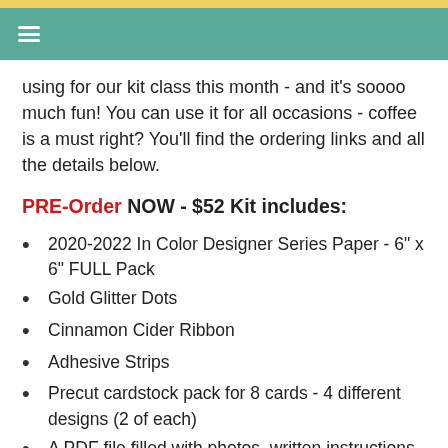≡
using for our kit class this month - and it's soooo much fun! You can use it for all occasions - coffee is a must right? You'll find the ordering links and all the details below.
PRE-Order NOW - $52 Kit includes:
2020-2022 In Color Designer Series Paper - 6" x 6" FULL Pack
Gold Glitter Dots
Cinnamon Cider Ribbon
Adhesive Strips
Precut cardstock pack for 8 cards - 4 different designs (2 of each)
A PDF file filled with photos, written instructions and exclusive video tutorials for each card